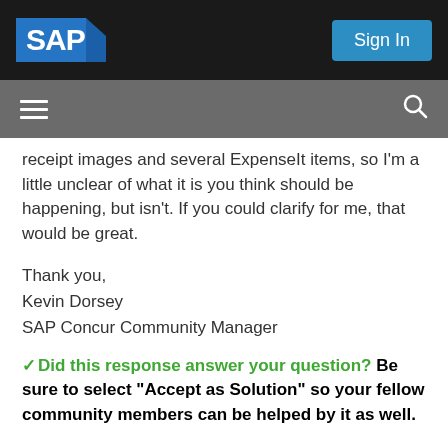[Figure (logo): SAP logo in white text on blue/dark background in top-left of black header bar]
Sign In
[Figure (other): Gray navigation bar with hamburger menu icon on the left and search icon on the right]
receipt images and several ExpenseIt items, so I'm a little unclear of what it is you think should be happening, but isn't. If you could clarify for me, that would be great.
Thank you,
Kevin Dorsey
SAP Concur Community Manager
✓ Did this response answer your question? Be sure to select “Accept as Solution” so your fellow community members can be helped by it as well.